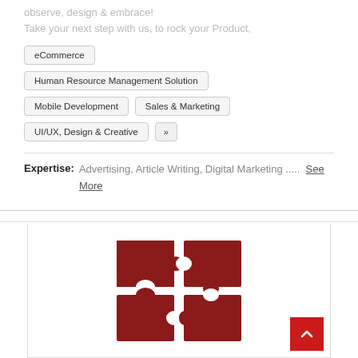observe, design & embrace!
Take your next step with us, to rock your Product,
eCommerce
Human Resource Management Solution
Mobile Development
Sales & Marketing
UI/UX, Design & Creative
»
Expertise: Advertising, Article Writing, Digital Marketing .....  See More
[Figure (logo): NESPAK logo made of dark red puzzle pieces arranged in a 2x2 grid pattern spelling out letters]